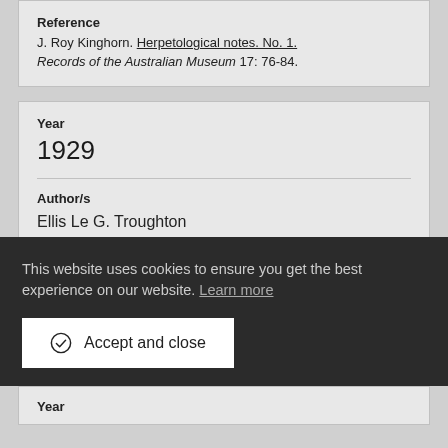Reference
J. Roy Kinghorn. Herpetological notes. No. 1. Records of the Australian Museum 17: 76-84.
Year
1929
Author/s
Ellis Le G. Troughton
Reference
This website uses cookies to ensure you get the best experience on our website. Learn more
Accept and close
Year